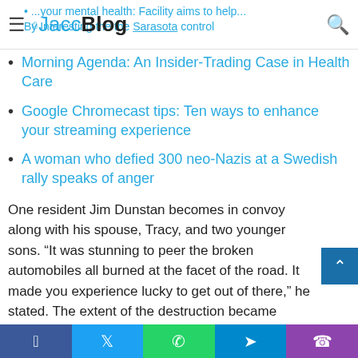JaccBlog
Morning Agenda: An Insider-Trading Case in Health Care
Google Chromecast tips: Ten ways to enhance your streaming experience
A woman who defied 300 neo-Nazis at a Swedish rally speaks of anger
One resident Jim Dunstan becomes in convoy along with his spouse, Tracy, and two younger sons. “It was stunning to peer the broken automobiles all burned at the facet of the road. It made you experience lucky to get out of there,” he stated. The extent of the destruction became evident in a video uploaded to YouTube on Thursday.
Facebook Twitter WhatsApp Telegram Phone